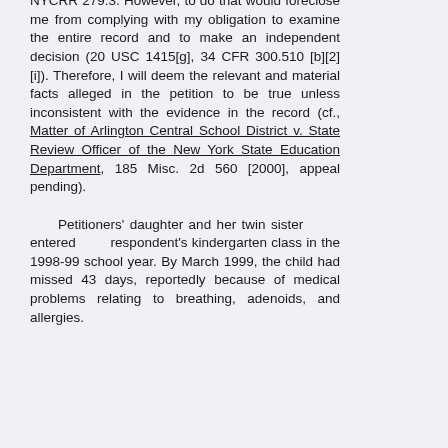NYCRR 279.3. However, to do that would foreclose me from complying with my obligation to examine the entire record and to make an independent decision (20 USC 1415[g], 34 CFR 300.510 [b][2][i]). Therefore, I will deem the relevant and material facts alleged in the petition to be true unless inconsistent with the evidence in the record (cf., Matter of Arlington Central School District v. State Review Officer of the New York State Education Department, 185 Misc. 2d 560 [2000], appeal pending).

Petitioners' daughter and her twin sister entered respondent's kindergarten class in the 1998-99 school year. By March 1999, the child had missed 43 days, reportedly because of medical problems relating to breathing, adenoids, and allergies.